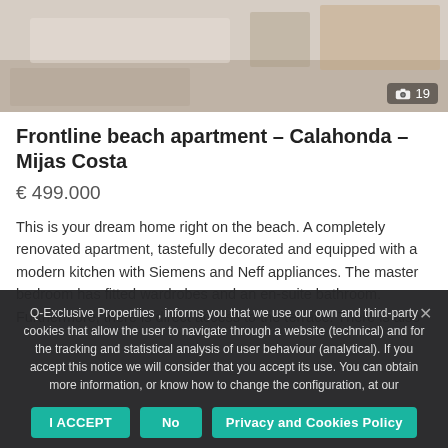[Figure (photo): Interior photo of a modern apartment living room with furniture, a sideboard, and a plant]
Frontline beach apartment – Calahonda – Mijas Costa
€ 499.000
This is your dream home right on the beach. A completely renovated apartment, tastefully decorated and equipped with a modern kitchen with Siemens and Neff appliances. The master bedroom has fitted wardrobes and an en-suite bathroom. Furthermore, there is direct access to the terrace. There is also
Q-Exclusive Propertiies , informs you that we use our own and third-party cookies that allow the user to navigate through a website (technical) and for the tracking and statistical analysis of user behaviour (analytical). If you accept this notice we will consider that you accept its use. You can obtain more information, or know how to change the configuration, at our